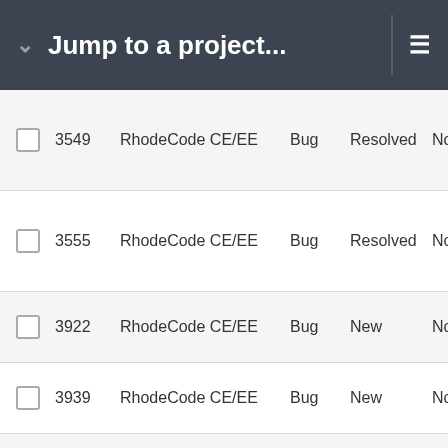Jump to a project...
|  | ID | Project | Type | Status | Extra |
| --- | --- | --- | --- | --- | --- |
| ☐ | 3549 | RhodeCode CE/EE | Bug | Resolved | No |
| ☐ | 3555 | RhodeCode CE/EE | Bug | Resolved | No |
| ☐ | 3922 | RhodeCode CE/EE | Bug | New | No |
| ☐ | 3939 | RhodeCode CE/EE | Bug | New | No |